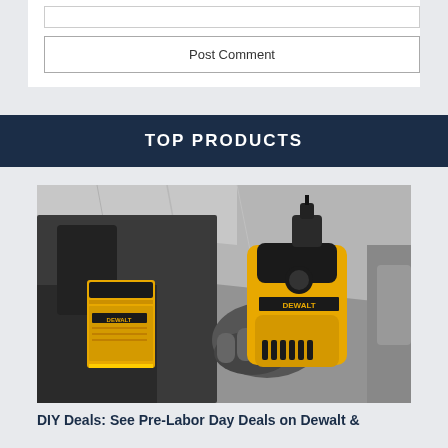[Figure (screenshot): Comment form area with empty text input field and Post Comment button on white background]
TOP PRODUCTS
[Figure (photo): Black and white photo of a person holding a yellow DeWalt cordless drill, with a battery pack visible. The drill is being used on a metallic surface.]
DIY Deals: See Pre-Labor Day Deals on Dewalt &